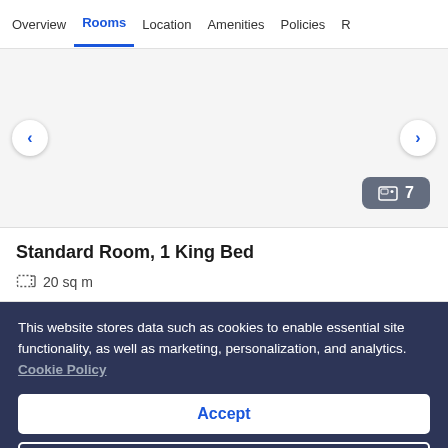Overview   Rooms   Location   Amenities   Policies   R
[Figure (photo): Hotel room photo carousel area with left and right navigation arrows, showing a light gray placeholder image area. A badge in the bottom right shows a photo icon and the number 7.]
Standard Room, 1 King Bed
20 sq m
This website stores data such as cookies to enable essential site functionality, as well as marketing, personalization, and analytics. Cookie Policy
Accept
Deny